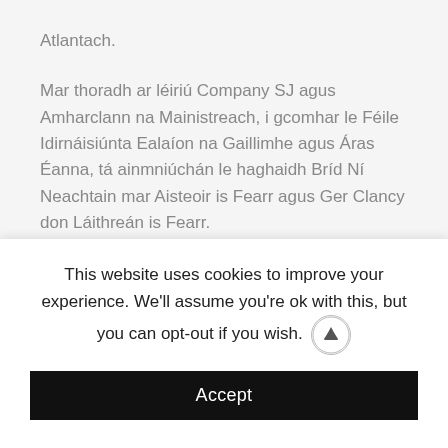Atlantach.
Mar thoradh ar léiriú Company SJ agus Amharclann na Mainistreach, i gcomhar le Féile Idirnáisiúnta Ealaíon na Gaillimhe agus Áras Éanna, tá ainmniúchán le haghaidh Bríd Ní Neachtain mar Aisteoir is Fearr agus Ger Clancy don Láithreán is Fearr.
Ba í Sarah Jane an chéad ealaíontóir cónaithe a d'fhan inár stiúideo tar éis ardú na srianta go luath an samhradh seo caite agus chuaigh sí i mbun oibre ar leagan Gaeilge de 'Happy Days' a bhí ar siúl ar feadh seachtaine ar chúl
This website uses cookies to improve your experience. We'll assume you're ok with this, but you can opt-out if you wish.
Accept